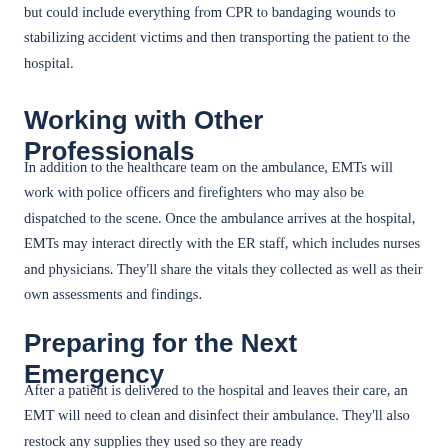but could include everything from CPR to bandaging wounds to stabilizing accident victims and then transporting the patient to the hospital.
Working with Other Professionals
In addition to the healthcare team on the ambulance, EMTs will work with police officers and firefighters who may also be dispatched to the scene. Once the ambulance arrives at the hospital, EMTs may interact directly with the ER staff, which includes nurses and physicians. They'll share the vitals they collected as well as their own assessments and findings.
Preparing for the Next Emergency
After a patient is delivered to the hospital and leaves their care, an EMT will need to clean and disinfect their ambulance. They'll also restock any supplies they used so they are ready for the next emergency.